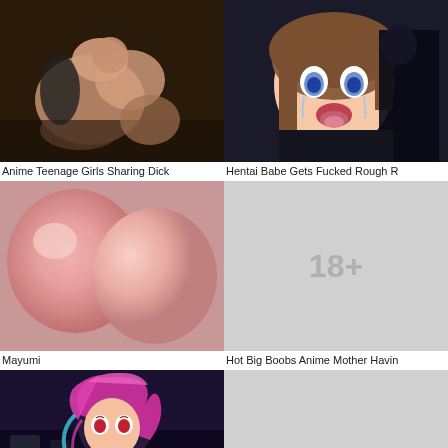[Figure (photo): 3D animated explicit scene with figures]
[Figure (illustration): Anime-style illustration of a crying girl with brown hair and a male figure behind her]
Anime Teenage Girls Sharing Dick
Hentai Babe Gets Fucked Rough R
[Figure (illustration): 3D rendered close-up of pink rounded anatomy]
[Figure (other): 18+ age restriction placeholder grey box]
Mayumi
Hot Big Boobs Anime Mother Havin
[Figure (illustration): Anime character with pink and purple hair in a dark scene]
[Figure (other): Grey placeholder thumbnail]